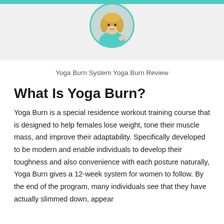[Figure (photo): Circular profile photo of a blonde woman in a teal/turquoise athletic top, positioned in center of a light gray header banner with teal top border]
Yoga Burn System Yoga Burn Review
What Is Yoga Burn?
Yoga Burn is a special residence workout training course that is designed to help females lose weight, tone their muscle mass, and improve their adaptability. Specifically developed to be modern and enable individuals to develop their toughness and also convenience with each posture naturally, Yoga Burn gives a 12-week system for women to follow. By the end of the program, many individuals see that they have actually slimmed down, appear